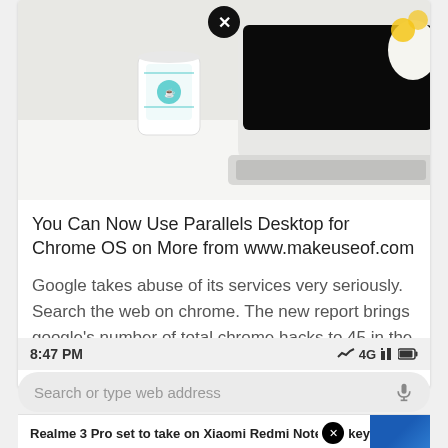[Figure (photo): A white laptop with a dark screen sits on a white surface next to a teal/white branded coffee cup. A yellow flower in a white vase is partially visible in the top right. A circular black close (X) button overlays the top center of the image.]
You Can Now Use Parallels Desktop for Chrome OS on More from www.makeuseof.com
Google takes abuse of its services very seriously. Search the web on chrome. The new report brings google's number of total chrome hacks to 45 in the last three weeks.
8:47 PM  4G
Search or type web address
Realme 3 Pro set to take on Xiaomi Redmi Note 7  key ifications...